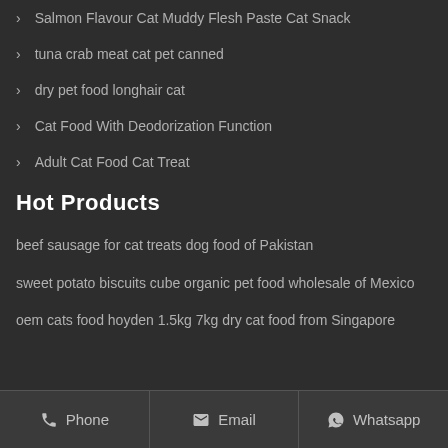Salmon Flavour Cat Muddy Flesh Paste Cat Snack
tuna crab meat cat pet canned
dry pet food longhair cat
Cat Food With Deodorization Function
Adult Cat Food Cat Treat
Hot Products
beef sausage for cat treats dog food of Pakistan
sweet potato biscuits cube organic pet food wholesale of Mexico
oem cats food hoyden 1.5kg 7kg dry cat food from Singapore
Phone   Email   Whatsapp